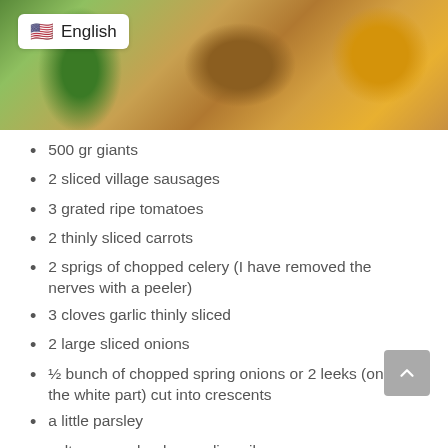[Figure (photo): Header photo of cooking ingredients including green onions, garlic, herbs, and spices on a wooden board, with a language selector badge showing English]
500 gr giants
2 sliced village sausages
3 grated ripe tomatoes
2 thinly sliced carrots
2 sprigs of chopped celery (I have removed the nerves with a peeler)
3 cloves garlic thinly sliced
2 large sliced onions
½ bunch of chopped spring onions or 2 leeks (only the white part) cut into crescents
a little parsley
salt, pepper, boukovo, olive oil
Directions